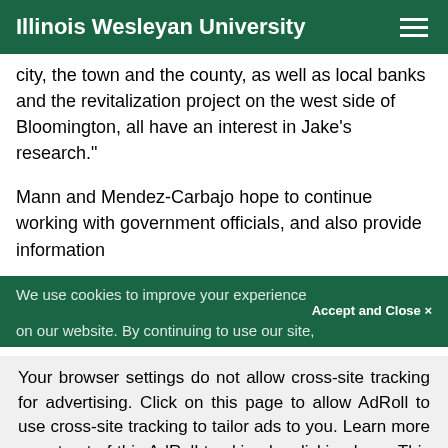Illinois Wesleyan University
city, the town and the county, as well as local banks and the revitalization project on the west side of Bloomington, all have an interest in Jake’s research.”
Mann and Mendez-Carbajo hope to continue working with government officials, and also provide information
We use cookies to improve your experience on our website. By continuing to use our site, you accept and close
Accept and Close ×
Your browser settings do not allow cross-site tracking for advertising. Click on this page to allow AdRoll to use cross-site tracking to tailor ads to you. Learn more or opt out of this AdRoll tracking by clicking here. This message only appears once.
the value of mortgages in default. The data shows the